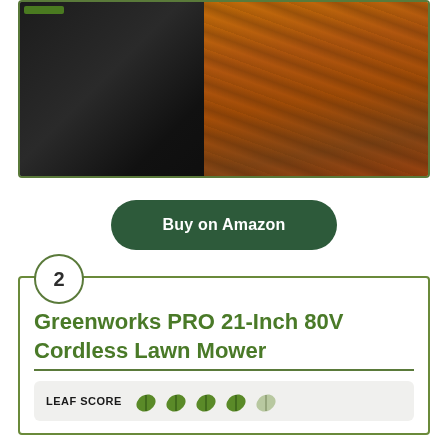[Figure (photo): Close-up photo of a black cordless lawn mower on a wood/bark surface with orange-brown texture]
Buy on Amazon
2 Greenworks PRO 21-Inch 80V Cordless Lawn Mower
LEAF SCORE